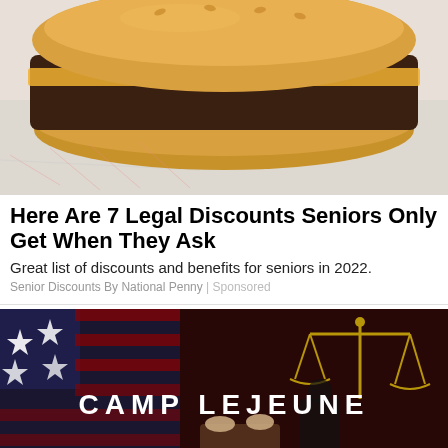[Figure (photo): Photo of a hamburger/cheeseburger on white deli paper]
Here Are 7 Legal Discounts Seniors Only Get When They Ask
Great list of discounts and benefits for seniors in 2022.
Senior Discounts By National Penny | Sponsored
[Figure (photo): Dark dramatic image with American flag and scales of justice, text reads CAMP LEJEUNE]